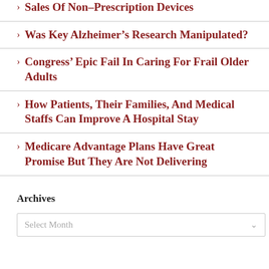Sales Of Non-Prescription Devices
Was Key Alzheimer's Research Manipulated?
Congress' Epic Fail In Caring For Frail Older Adults
How Patients, Their Families, And Medical Staffs Can Improve A Hospital Stay
Medicare Advantage Plans Have Great Promise But They Are Not Delivering
Archives
Select Month